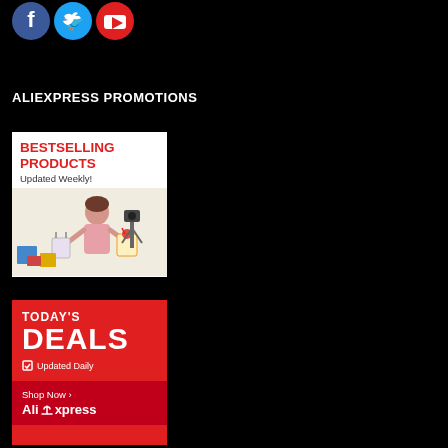[Figure (illustration): Social media icons: Facebook (blue circle), Twitter (light blue circle), YouTube/Pinterest (red circle) partially visible at top]
ALIEXPRESS PROMOTIONS
[Figure (photo): AliExpress banner ad for Bestselling Products, Updated Weekly, showing a woman with shopping bags]
[Figure (illustration): AliExpress banner ad for Today's Deals, Updated Daily, Shop Now, AliExpress logo, red background]